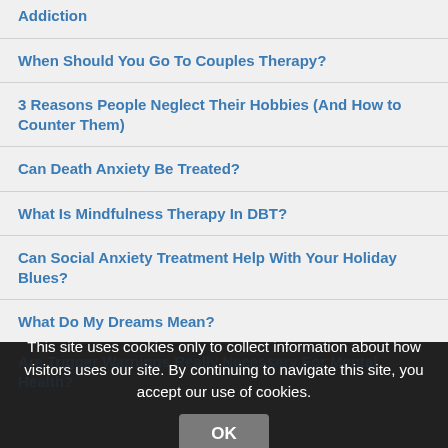Addiction
When Should You Go To Couples Therapy?
3 Reasons People Neglect Their Hobbies (And How to Counter Them)
Can Death Anxiety Be Treated?
What Is Mindfulness Therapy In DBT?
Can Social Anxiety Treatment Help With Your Holiday Blues?
What Do My Dreams Mean?
Are Trigger Warnings Really Necessary For Mental Health?
This site uses cookies only to collect information about how visitors uses our site. By continuing to navigate this site, you accept our use of cookies.